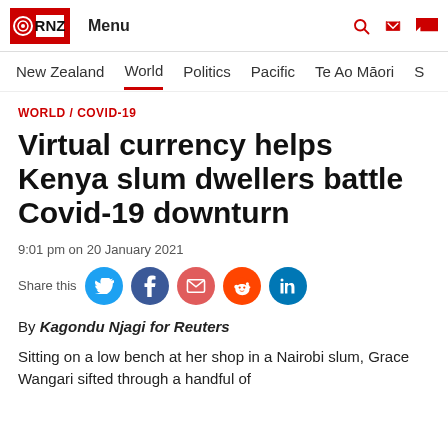RNZ Menu
New Zealand  World  Politics  Pacific  Te Ao Māori  S
WORLD / COVID-19
Virtual currency helps Kenya slum dwellers battle Covid-19 downturn
9:01 pm on 20 January 2021
Share this
By Kagondu Njagi for Reuters
Sitting on a low bench at her shop in a Nairobi slum, Grace Wangari sifted through a handful of